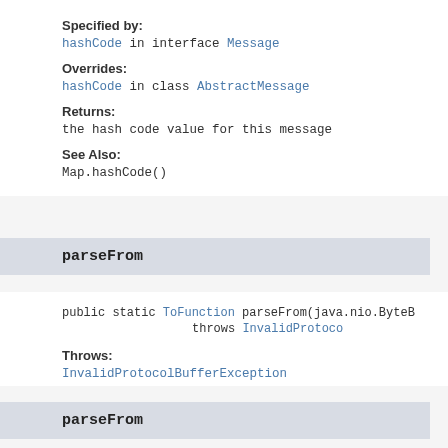Specified by:
hashCode in interface Message
Overrides:
hashCode in class AbstractMessage
Returns:
the hash code value for this message
See Also:
Map.hashCode()
parseFrom
public static ToFunction parseFrom(java.nio.ByteB throws InvalidProtoco
Throws:
InvalidProtocolBufferException
parseFrom